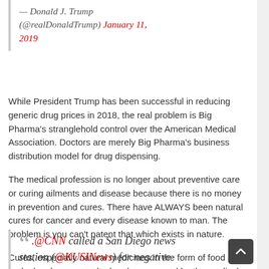— Donald J. Trump (@realDonaldTrump) January 11, 2019
While President Trump has been successful in reducing generic drug prices in 2018, the real problem is Big Pharma's stranglehold control over the American Medical Association. Doctors are merely Big Pharma's business distribution model for drug dispensing.
The medical profession is no longer about preventive care or curing ailments and disease because there is no money in prevention and cures. There have ALWAYS been natural cures for cancer and every disease known to man. The problem is you can't patent that which exists in nature.
Cures, especially natural medicines in the form of food and herbs has been assaulted and suppressed by the medical profession. The money is in “Disease Management” and this is killing Americans ... literally.
.@CNN called a San Diego news station (@KUSINews) for negative